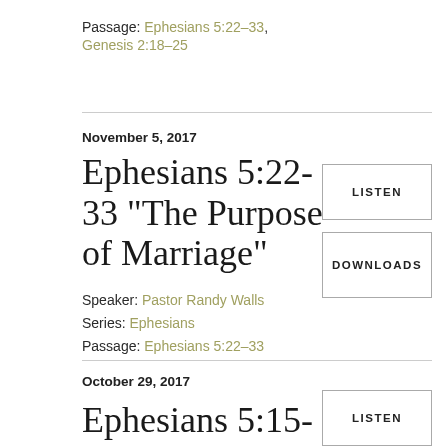Passage: Ephesians 5:22–33, Genesis 2:18–25
November 5, 2017
Ephesians 5:22-33 "The Purpose of Marriage"
Speaker: Pastor Randy Walls
Series: Ephesians
Passage: Ephesians 5:22–33
LISTEN
DOWNLOADS
October 29, 2017
Ephesians 5:15-
LISTEN